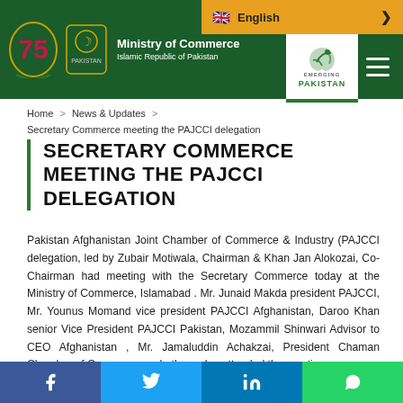Ministry of Commerce, Islamic Republic of Pakistan
Home > News & Updates > Secretary Commerce meeting the PAJCCI delegation
SECRETARY COMMERCE MEETING THE PAJCCI DELEGATION
Pakistan Afghanistan Joint Chamber of Commerce & Industry (PAJCCI delegation, led by Zubair Motiwala, Chairman & Khan Jan Alokozai, Co-Chairman had meeting with the Secretary Commerce today at the Ministry of Commerce, Islamabad . Mr. Junaid Makda president PAJCCI, Mr. Younus Momand vice president PAJCCI Afghanistan, Daroo Khan senior Vice President PAJCCI Pakistan, Mozammil Shinwari Advisor to CEO Afghanistan , Mr. Jamaluddin Achakzai, President Chaman Chamber of Commerce and others also attended the meeting.
Social share: Facebook, Twitter, LinkedIn, WhatsApp